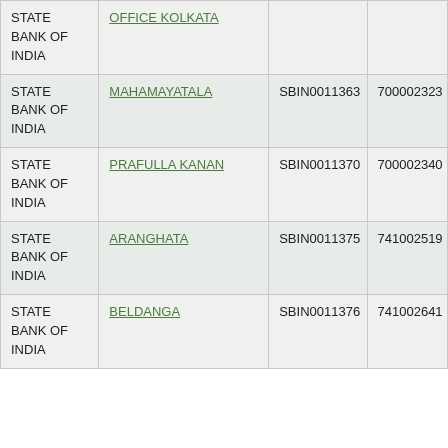| Bank | Branch | IFSC | PIN |
| --- | --- | --- | --- |
| STATE BANK OF INDIA | OFFICE KOLKATA |  |  |
| STATE BANK OF INDIA | MAHAMAYATALA | SBIN0011363 | 700002323 |
| STATE BANK OF INDIA | PRAFULLA KANAN | SBIN0011370 | 700002340 |
| STATE BANK OF INDIA | ARANGHATA | SBIN0011375 | 741002519 |
| STATE BANK OF INDIA | BELDANGA | SBIN0011376 | 741002641 |